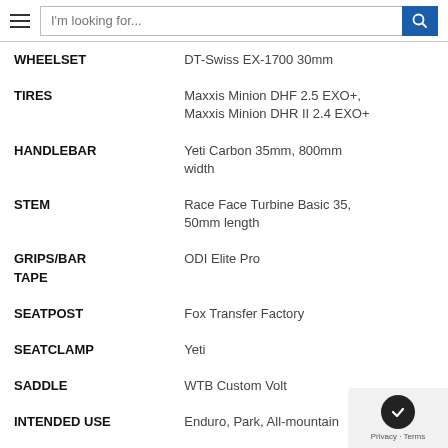I'm looking for...
| Spec | Value |
| --- | --- |
| WHEELSET | DT-Swiss EX-1700 30mm |
| TIRES | Maxxis Minion DHF 2.5 EXO+, Maxxis Minion DHR II 2.4 EXO+ |
| HANDLEBAR | Yeti Carbon 35mm, 800mm width |
| STEM | Race Face Turbine Basic 35, 50mm length |
| GRIPS/BAR TAPE | ODI Elite Pro |
| SEATPOST | Fox Transfer Factory |
| SEATCLAMP | Yeti |
| SADDLE | WTB Custom Volt |
| INTENDED USE | Enduro, Park, All-mountain |